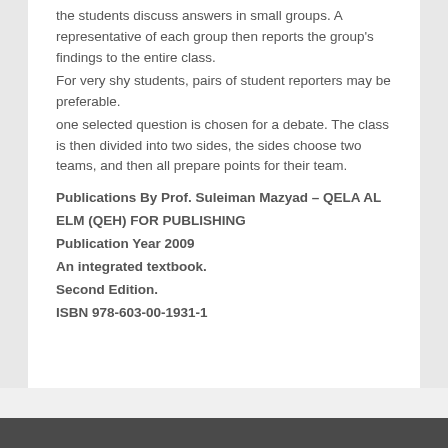the students discuss answers in small groups. A representative of each group then reports the group's findings to the entire class.
For very shy students, pairs of student reporters may be preferable.
one selected question is chosen for a debate. The class is then divided into two sides, the sides choose two teams, and then all prepare points for their team.
Publications By Prof. Suleiman Mazyad – QELA AL ELM (QEH) FOR PUBLISHING
Publication Year 2009
An integrated textbook.
Second Edition.
ISBN 978-603-00-1931-1